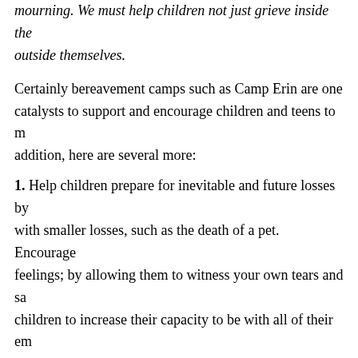mourning. We must help children not just grieve inside themselves, but outside themselves.
Certainly bereavement camps such as Camp Erin are one of the catalysts to support and encourage children and teens to mourn. In addition, here are several more:
1. Help children prepare for inevitable and future losses by starting with smaller losses, such as the death of a pet. Encourage their feelings; by allowing them to witness your own tears and sadness, children to increase their capacity to be with all of their emotions.
2. Understand and accept that regressive behaviors during grief can be a child's way to self-soothe in an attempt to make order. These behaviors are common and temporary.
3. Recognize common grief reactions such as increased f...